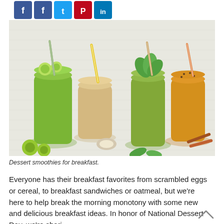[Figure (photo): Four mason jar smoothies on a white tile surface. From left: two green smoothies (one with lime slices and green striped straw, one with mint leaves), a beige/coconut smoothie with yellow striped straw, and an orange/golden smoothie with cinnamon sticks and orange striped straw.]
Dessert smoothies for breakfast.
Everyone has their breakfast favorites from scrambled eggs or cereal, to breakfast sandwiches or oatmeal, but we're here to help break the morning monotony with some new and delicious breakfast ideas. In honor of National Dessert Day, we're sharing